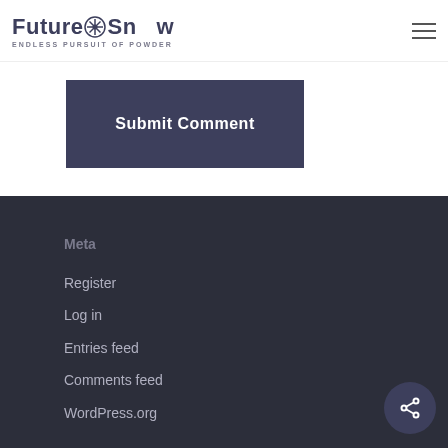FutureSnow ENDLESS PURSUIT OF POWDER
Submit Comment
Meta
Register
Log in
Entries feed
Comments feed
WordPress.org